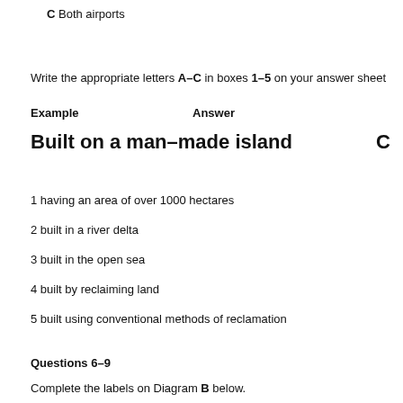C Both airports
Write the appropriate letters A–C in boxes 1–5 on your answer sheet
Example    Answer
Built on a man–made island    C
1 having an area of over 1000 hectares
2 built in a river delta
3 built in the open sea
4 built by reclaiming land
5 built using conventional methods of reclamation
Questions 6–9
Complete the labels on Diagram B below.